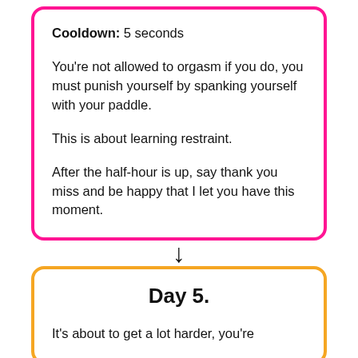Cooldown: 5 seconds

You're not allowed to orgasm if you do, you must punish yourself by spanking yourself with your paddle.

This is about learning restraint.

After the half-hour is up, say thank you miss and be happy that I let you have this moment.
↓
Day 5.
It's about to get a lot harder, you're